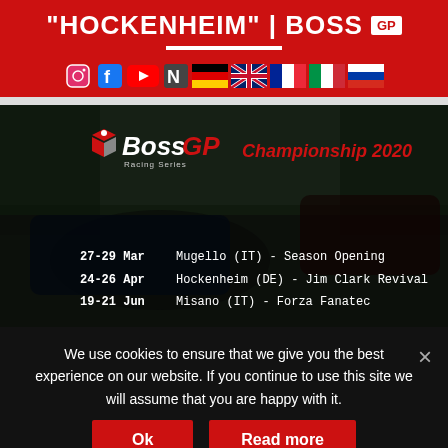"HOCKENHEIM" | BOSS GP
[Figure (logo): Social media and country flag icons row on red background: Instagram, Facebook, YouTube, N (newsletter?), German flag, UK flag, French flag, Italian flag, Russian flag]
[Figure (photo): Boss GP Racing Series Championship 2020 promotional image showing formula racing cars on track, with schedule overlay: 27-29 Mar Mugello (IT) - Season Opening, 24-26 Apr Hockenheim (DE) - Jim Clark Revival, 19-21 Jun Misano (IT) - Forza Fanatec]
We use cookies to ensure that we give you the best experience on our website. If you continue to use this site we will assume that you are happy with it.